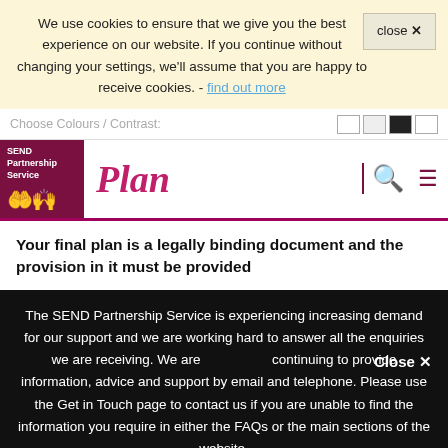We use cookies to ensure that we give you the best experience on our website. If you continue without changing your settings, we'll assume that you are happy to receive cookies. - find out more
close ✕
Choose Colours / Contrast:
[Figure (logo): SEND Partnership Service logo with hands graphic]
Plan
search and menu icons
Your final plan is a legally binding document and the provision in it must be provided
The SEND Partnership Service is experiencing increasing demand for our support and we are working hard to answer all the enquiries we are receiving. We are continuing to provide information, advice and support by email and telephone. Please use the Get in Touch page to contact us if you are unable to find the information you require in either the FAQs or the main sections of the website.
Close ✕